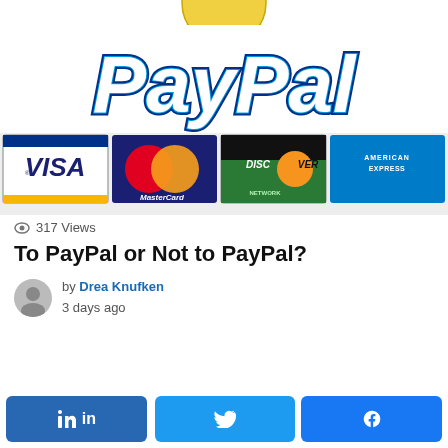[Figure (illustration): PayPal logo with gold sunburst badge at top, large PayPal italic text in dark blue/white outline, and four credit card logos below: Visa, MasterCard, Discover, American Express]
317 Views
To PayPal or Not to PayPal?
by Drea Knufken
3 days ago
[Figure (infographic): Share buttons row: LinkedIn (in), Twitter (bird icon), Facebook (f icon) — all in blue tones]